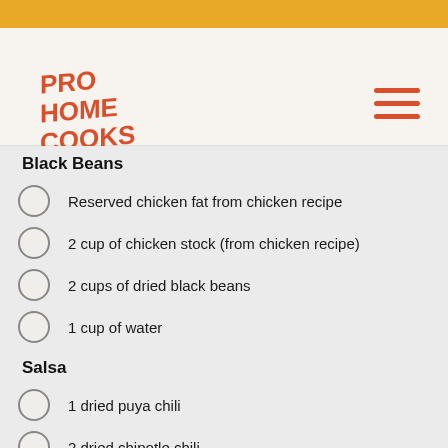PRO HOME COOKS
Black Beans
Reserved chicken fat from chicken recipe
2 cup of chicken stock (from chicken recipe)
2 cups of dried black beans
1 cup of water
Salsa
1 dried puya chili
2 dried chipotle chili
2 dried guajillo chili
2 dried ancho chili
½ an onion